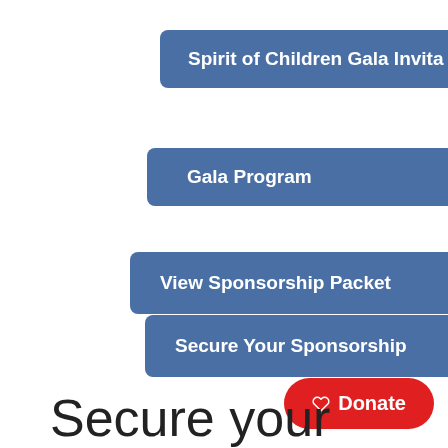Spirit of Children Gala Invita...
Gala Program
View Sponsorship Packet
Secure Your Sponsorship
♡ Donate
Secure your